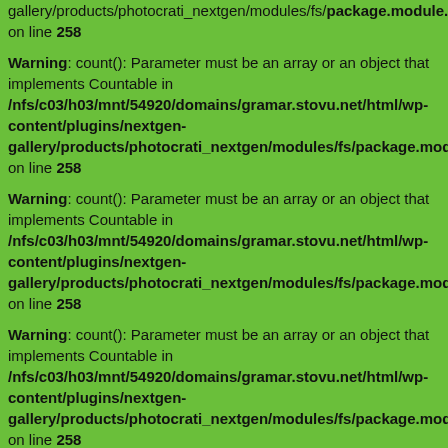gallery/products/photocrati_nextgen/modules/fs/package.module.fs.php on line 258
Warning: count(): Parameter must be an array or an object that implements Countable in /nfs/c03/h03/mnt/54920/domains/gramar.stovu.net/html/wp-content/plugins/nextgen-gallery/products/photocrati_nextgen/modules/fs/package.module.fs.php on line 258
Warning: count(): Parameter must be an array or an object that implements Countable in /nfs/c03/h03/mnt/54920/domains/gramar.stovu.net/html/wp-content/plugins/nextgen-gallery/products/photocrati_nextgen/modules/fs/package.module.fs.php on line 258
Warning: count(): Parameter must be an array or an object that implements Countable in /nfs/c03/h03/mnt/54920/domains/gramar.stovu.net/html/wp-content/plugins/nextgen-gallery/products/photocrati_nextgen/modules/fs/package.module.fs.php on line 258
Warning: count(): Parameter must be an array or an object that implements Countable in /nfs/c03/h03/mnt/54920/domains/gramar.stovu.net/html/wp-content/plugins/nextgen-gallery/products/photocrati_nextgen/modules/fs/package.module.fs.php on line 258